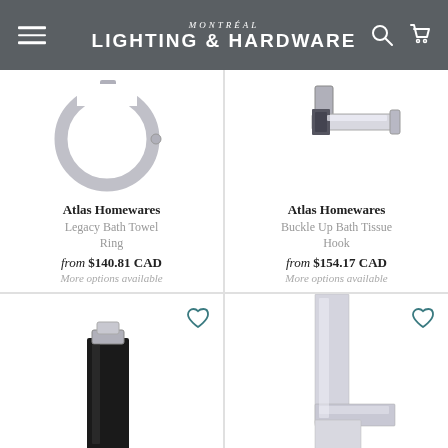MONTRÉAL LIGHTING & HARDWARE
[Figure (photo): Chrome towel ring bathroom hardware product photo on white background]
[Figure (photo): Chrome rectangular bath tissue hook hardware product photo on white background]
Atlas Homewares
Legacy Bath Towel Ring
from $140.81 CAD
More options available
Atlas Homewares
Buckle Up Bath Tissue Hook
from $154.17 CAD
More options available
[Figure (photo): Black matte square soap dispenser or toilet paper holder hardware product photo on white background]
[Figure (photo): Chrome/silver angular bathroom hardware bracket product photo on white background]